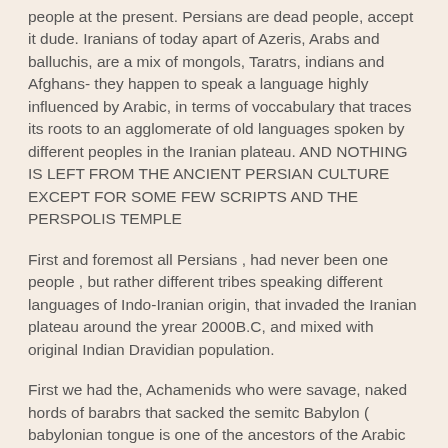people at the present. Persians are dead people, accept it dude. Iranians of today apart of Azeris, Arabs and balluchis, are a mix of mongols, Taratrs, indians and Afghans- they happen to speak a language highly influenced by Arabic, in terms of voccabulary that traces its roots to an agglomerate of old languages spoken by different peoples in the Iranian plateau. AND NOTHING IS LEFT FROM THE ANCIENT PERSIAN CULTURE EXCEPT FOR SOME FEW SCRIPTS AND THE PERSPOLIS TEMPLE
First and foremost all Persians , had never been one people , but rather different tribes speaking different languages of Indo-Iranian origin, that invaded the Iranian plateau around the yrear 2000B.C, and mixed with original Indian Dravidian population.
First we had the, Achamenids who were savage, naked hords of barabrs that sacked the semitc Babylon ( babylonian tongue is one of the ancestors of the Arabic one) and